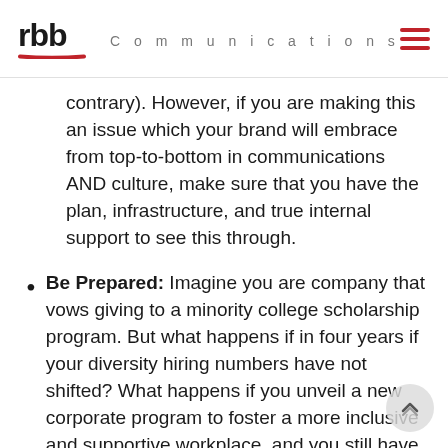rbb Communications
contrary). However, if you are making this an issue which your brand will embrace from top-to-bottom in communications AND culture, make sure that you have the plan, infrastructure, and true internal support to see this through.
Be Prepared: Imagine you are company that vows giving to a minority college scholarship program. But what happens if in four years if your diversity hiring numbers have not shifted? What happens if you unveil a new corporate program to foster a more inclusive and supportive workplace, and you still have a group of employees that are not satisfied? It is it...